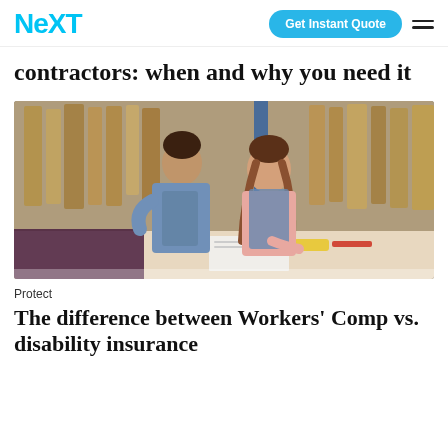NEXT | Get Instant Quote
contractors: when and why you need it
[Figure (photo): Two people in denim aprons working together at a table in a fabric/craft warehouse, surrounded by rolls of brown paper and fabric on racks. A woman with braids leans over the table writing while a man stands beside her looking on.]
Protect
The difference between Workers' Comp vs. disability insurance